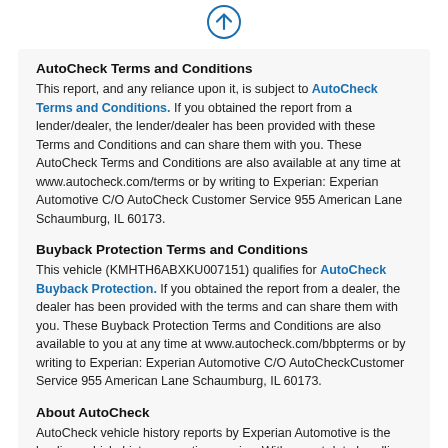[Figure (other): An upward arrow icon in a circle, blue outline.]
AutoCheck Terms and Conditions
This report, and any reliance upon it, is subject to AutoCheck Terms and Conditions. If you obtained the report from a lender/dealer, the lender/dealer has been provided with these Terms and Conditions and can share them with you. These AutoCheck Terms and Conditions are also available at any time at www.autocheck.com/terms or by writing to Experian: Experian Automotive C/O AutoCheck Customer Service 955 American Lane Schaumburg, IL 60173.
Buyback Protection Terms and Conditions
This vehicle (KMHTH6ABXKU007151) qualifies for AutoCheck Buyback Protection. If you obtained the report from a dealer, the dealer has been provided with the terms and can share them with you. These Buyback Protection Terms and Conditions are also available to you at any time at www.autocheck.com/bbpterms or by writing to Experian: Experian Automotive C/O AutoCheckCustomer Service 955 American Lane Schaumburg, IL 60173.
About AutoCheck
AutoCheck vehicle history reports by Experian Automotive is the leading vehicle history reporting service. With expert data handling, the Experian Automotive database houses over 4